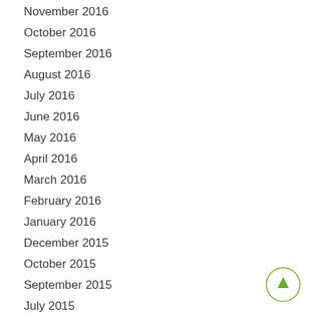November 2016
October 2016
September 2016
August 2016
July 2016
June 2016
May 2016
April 2016
March 2016
February 2016
January 2016
December 2015
October 2015
September 2015
July 2015
[Figure (illustration): A circular button with an upward-pointing green arrow, indicating scroll to top.]